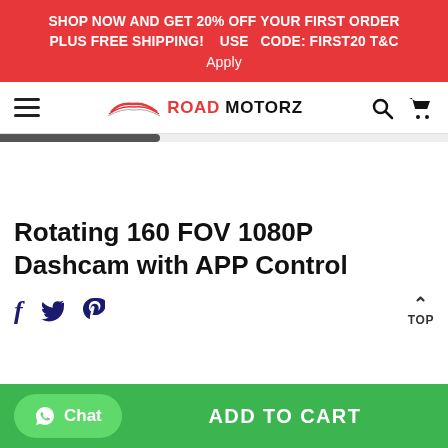SHOP NOW AND GET 20% OFF YOUR FIRST ORDER PLUS FREE SHIPPING!   USE  CODE: FIRST20 T&C Apply
[Figure (logo): Road Motorz logo with car silhouette icon and red/black text]
Rotating 160 FOV 1080P Dashcam with APP Control
Social share icons: Facebook, Twitter, Pinterest. TOP button.
Chat | ADD TO CART